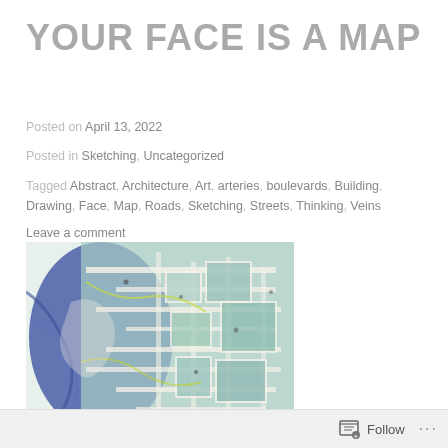YOUR FACE IS A MAP
Posted on April 13, 2022
Posted in Sketching, Uncategorized
Tagged Abstract, Architecture, Art, arteries, boulevards, Building, Drawing, Face, Map, Roads, Sketching, Streets, Thinking, Veins
Leave a comment
[Figure (illustration): Abstract artwork showing a face-like form blending with map-like patterns, using blue, teal, and yellow-green colors with road/vein-like lines]
Follow ...